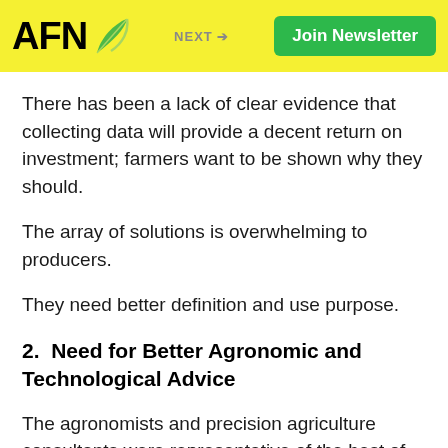AFN | NEXT → | Join Newsletter
There has been a lack of clear evidence that collecting data will provide a decent return on investment; farmers want to be shown why they should.
The array of solutions is overwhelming to producers.
They need better definition and use purpose.
2.  Need for Better Agronomic and Technological Advice
The agronomists and precision agriculture consultants were representative of the best of the